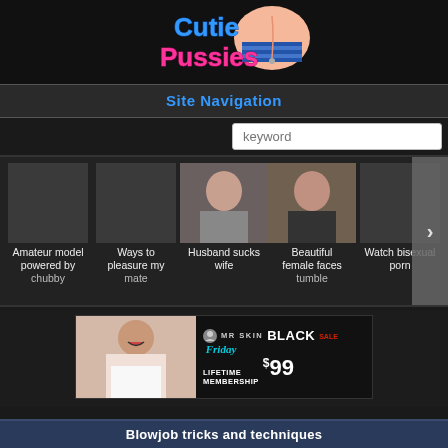[Figure (logo): Cutie Pussies website logo with cartoon character]
Site Navigation
[Figure (screenshot): Search input box with placeholder text 'keyword']
[Figure (screenshot): Carousel of thumbnail images with titles: Amateur model powered by chubby, Ways to pleasure my mate, Husband sucks wife, Beautiful female faces tumble, Watch bisexual porn]
[Figure (advertisement): Mr Skin Black Friday Sale - Lifetime Membership $99 advertisement banner]
Blowjob tricks and techniques